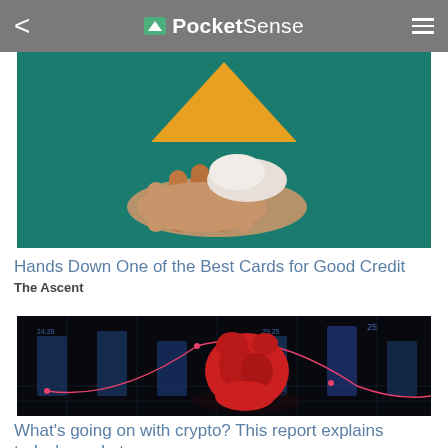PocketSense
[Figure (photo): A hand holding up a yellow/orange shape against a teal/green background — advertisement image for a credit card offer]
Hands Down One of the Best Cards for Good Credit
The Ascent
[Figure (photo): A red 3D bear figure sitting on a dark grid surface with glowing blue stock chart figures in the background and a pink curve line — crypto market illustration]
What's going on with crypto? This report explains today's market